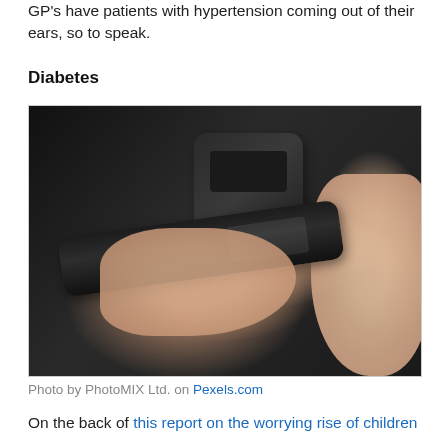GP's have patients with hypertension coming out of their ears, so to speak.
Diabetes
[Figure (photo): A person using a lancet pen device to test blood glucose, with a glucometer visible in the background. Both hands visible against a light background.]
Photo by PhotoMIX Ltd. on Pexels.com
On the back of this report on the worrying rise of children